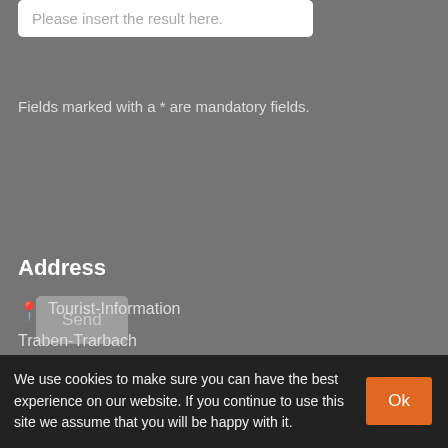Please insert the result here.
Fields marked with a * are mandatory fields.
Send
Address
Tourist-Information
Traben-Trarbach
Am Bahnhof 5
56841 Traben-Trarbach
Germany
+49 (0) 6541 83980
info@traben-trarbach.de
We use cookies to make sure you can have the best experience on our website. If you continue to use this site we assume that you will be happy with it.
Ok